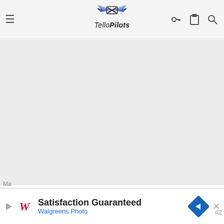[Figure (logo): TelloPilots website navigation bar with hamburger menu icon on left, TelloPilots logo (winged drone icon) in center, and key/clipboard/search icons on right]
[Figure (photo): Gray content area (advertisement or image placeholder)]
shooter
Member
Joined: Mar 17, 2018  Messages: 16  Reaction score: 9
[Figure (infographic): Walgreens advertisement banner: 'Satisfaction Guaranteed / Walgreens Photo' with Walgreens W logo and blue navigation arrow icon, and X close button]